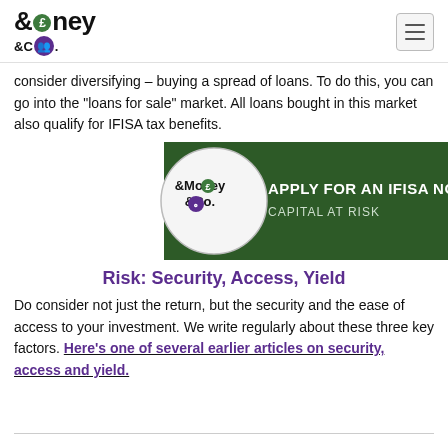Money & Co. logo and navigation
consider diversifying – buying a spread of loans. To do this, you can go into the "loans for sale" market. All loans bought in this market also qualify for IFISA tax benefits.
[Figure (logo): Money & Co. logo with green pentagon banner reading APPLY FOR AN IFISA NOW / CAPITAL AT RISK]
Risk: Security, Access, Yield
Do consider not just the return, but the security and the ease of access to your investment. We write regularly about these three key factors. Here's one of several earlier articles on security, access and yield.